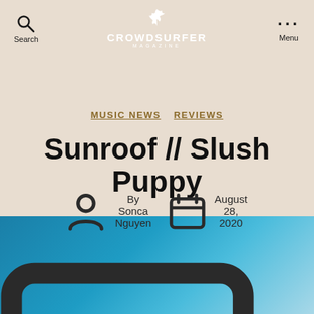CROWDSURFER MAGAZINE
MUSIC NEWS  REVIEWS
Sunroof // Slush Puppy
By Sonca Nguyen  August 28, 2020  No Comments